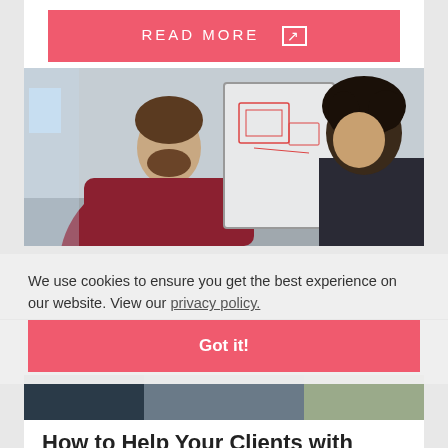[Figure (other): Pink/salmon colored 'READ MORE' button with external link icon]
[Figure (photo): Two people in a meeting - a bearded man in a maroon shirt on the left and a person with curly dark hair on the right, both facing a whiteboard with sketches]
We use cookies to ensure you get the best experience on our website. View our privacy policy.
[Figure (other): Pink 'Got it!' cookie consent button]
[Figure (photo): Partial photo at bottom of page showing two people]
How to Help Your Clients with Website Content Strategy